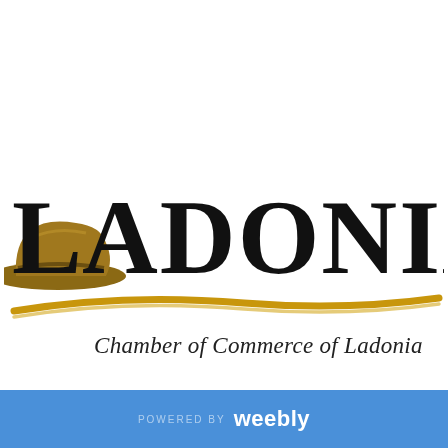[Figure (logo): Ladonia Chamber of Commerce logo featuring the word LADONIA in large decorative black letters with a cowboy hat on the left, a golden curved swoosh line underneath, and italic text reading 'Chamber of Commerce of Ladonia' below the swoosh.]
POWERED BY weebly